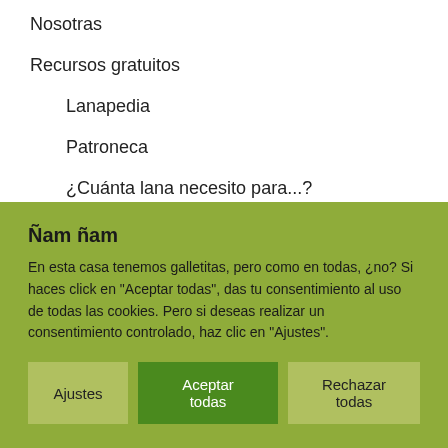Nosotras
Recursos gratuitos
Lanapedia
Patroneca
¿Cuánta lana necesito para...?
Todo sobre el bloqueo de tejidos
CONCURSO
Ñam ñam
En esta casa tenemos galletitas, pero como en todas, ¿no? Si haces click en "Aceptar todas", das tu consentimiento al uso de todas las cookies. Pero si deseas realizar un consentimiento controlado, haz clic en "Ajustes".